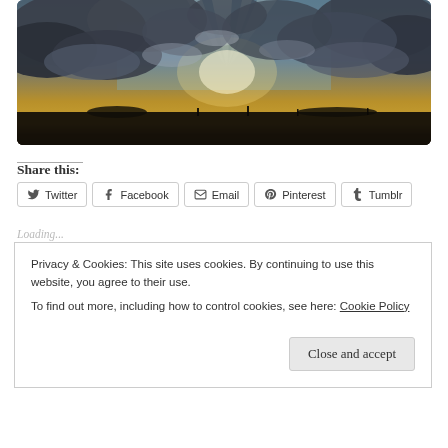[Figure (photo): Dramatic sky photograph showing dark storm clouds with sunlight breaking through, over a flat landscape silhouette at dusk. Warm golden-yellow light near the horizon.]
Share this:
Twitter  Facebook  Email  Pinterest  Tumblr
Loading...
Privacy & Cookies: This site uses cookies. By continuing to use this website, you agree to their use.
To find out more, including how to control cookies, see here: Cookie Policy
Close and accept